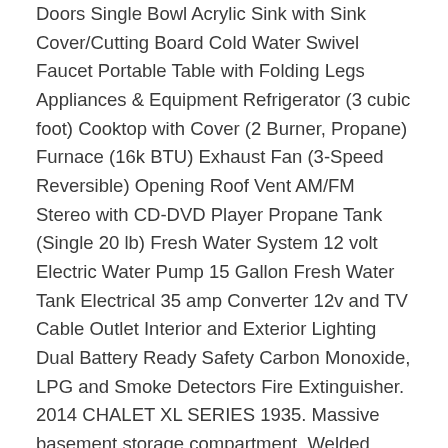Doors Single Bowl Acrylic Sink with Sink Cover/Cutting Board Cold Water Swivel Faucet Portable Table with Folding Legs Appliances & Equipment Refrigerator (3 cubic foot) Cooktop with Cover (2 Burner, Propane) Furnace (16k BTU) Exhaust Fan (3-Speed Reversible) Opening Roof Vent AM/FM Stereo with CD-DVD Player Propane Tank (Single 20 lb) Fresh Water System 12 volt Electric Water Pump 15 Gallon Fresh Water Tank Electrical 35 amp Converter 12v and TV Cable Outlet Interior and Exterior Lighting Dual Battery Ready Safety Carbon Monoxide, LPG and Smoke Detectors Fire Extinguisher. 2014 CHALET XL SERIES 1935. Massive basement storage compartment. Welded aluminum framed superstructure. We are proud of the work we do and our customer service team stands firmly behind every unit coming out of our Albany factory. A permanent queen bed